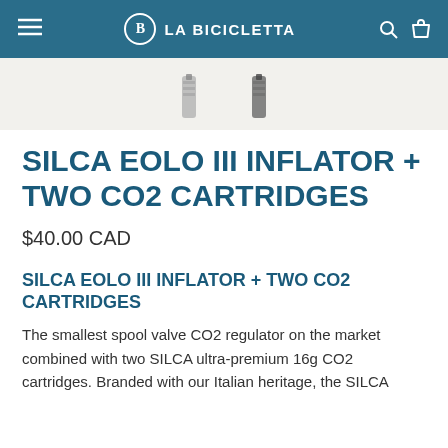LA BICICLETTA
[Figure (photo): Partial product image showing SILCA Eolo III inflator and CO2 cartridges on a light background]
SILCA EOLO III INFLATOR + TWO CO2 CARTRIDGES
$40.00 CAD
SILCA EOLO III INFLATOR + TWO CO2 CARTRIDGES
The smallest spool valve CO2 regulator on the market combined with two SILCA ultra-premium 16g CO2 cartridges. Branded with our Italian heritage, the SILCA